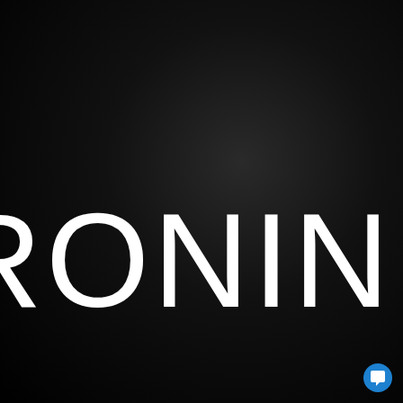RONIN
Challenge Acc
With a lightweig